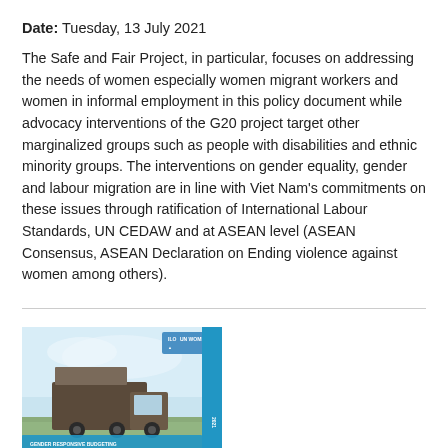Date: Tuesday, 13 July 2021
The Safe and Fair Project, in particular, focuses on addressing the needs of women especially women migrant workers and women in informal employment in this policy document while advocacy interventions of the G20 project target other marginalized groups such as people with disabilities and ethnic minority groups. The interventions on gender equality, gender and labour migration are in line with Viet Nam's commitments on these issues through ratification of International Labour Standards, UN CEDAW and at ASEAN level (ASEAN Consensus, ASEAN Declaration on Ending violence against women among others).
[Figure (photo): Book cover for 'Gender Responsive Budgeting in Viet Nam: Gender Equality in Transport' published by UN Women, showing a truck or vehicle on a road with sky background and a teal banner at bottom with title text.]
Gender Responsive Budgeting in Viet Nam: Gender Equality in Transport
Date: Saturday, 1 August 2020